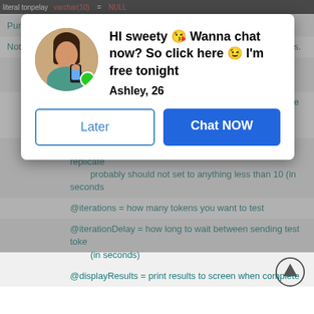literal tonpelay   varchar(10)   NULL
Purpose:    Retrieves the amount of replication latency in seconds
Notes:    Default settings will run 1 test every minute for 5 minutes.
@publicationToTest = defaults to yourPublicationName publica
@publicationDB = the database that is the source for the publi    The tracer procs are found in the publishing DB.
@replicationDelay = how long to wait for the token to replicate    probably should not set to anything less than 10 (in seconds
@iterations = how many tokens you want to test
@iterationDelay = how long to wait between sending test toke    (in seconds)
@displayResults = print results to screen when complete
[Figure (screenshot): Ad popup overlay with profile photo of a woman, message 'HI sweety 😘 Wanna chat now? So click here 😉 I'm free tonight', name 'Ashley, 26', and two buttons: 'Later' and 'Chat NOW']